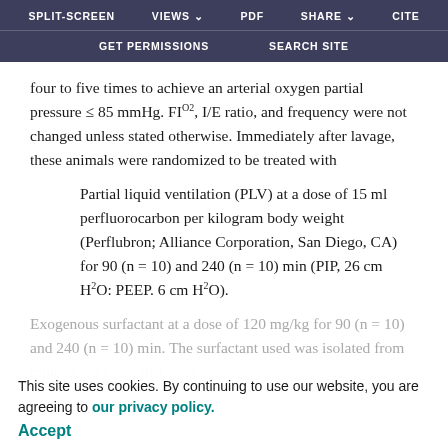SPLIT-SCREEN   VIEWS   PDF   SHARE   CITE   GET PERMISSIONS   SEARCH SITE
four to five times to achieve an arterial oxygen partial pressure ≤ 85 mmHg. FIO2, I/E ratio, and frequency were not changed unless stated otherwise. Immediately after lavage, these animals were randomized to be treated with
Partial liquid ventilation (PLV) at a dose of 15 ml perfluorocarbon per kilogram body weight (Perflubron; Alliance Corporation, San Diego, CA) for 90 (n = 10) and 240 (n = 10) min (PIP, 26 cm H2O: PEEP. 6 cm H2O).
This site uses cookies. By continuing to use our website, you are agreeing to our privacy policy.
Accept
Exogenous surfactant at a dose of 120 mg/kg for 90 (n = 10) and 240 (n = 10) min. The surfactant used was isolated from minced pig lungs that were